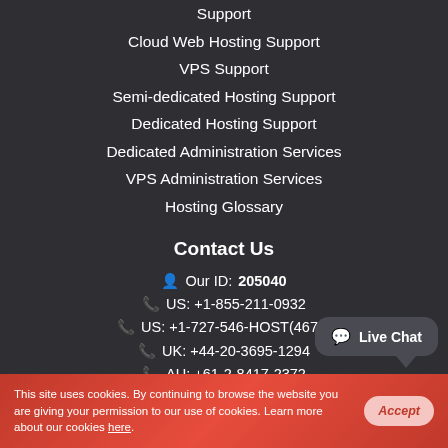Support
Cloud Web Hosting Support
VPS Support
Semi-dedicated Hosting Support
Dedicated Hosting Support
Dedicated Administration Services
VPS Administration Services
Hosting Glossary
Contact Us
Our ID: 205040
US: +1-855-211-0932
US: +1-727-546-HOST(4678)
UK: +44-20-3695-1294
AU: +61-2-8417-2372
[Figure (other): Live Chat button/bubble in bottom right corner]
This site uses cookies. By continuing to browse the website you are giving your permission to our use of cookies. Learn more about our cookies here.